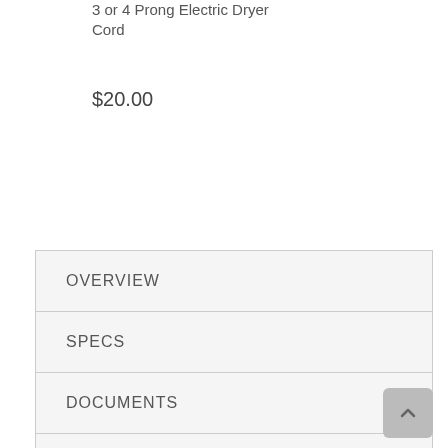3 or 4 Prong Electric Dryer Cord
$20.00
[Figure (screenshot): Add to Cart button with cart icon on dark navy background]
OVERVIEW
SPECS
DOCUMENTS
REBATES
VIDEOS